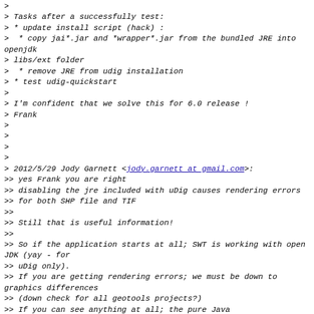>
> Tasks after a successfully test:
> * update install script (hack) :
>  * copy jai*.jar and *wrapper*.jar from the bundled JRE into openjdk
> libs/ext folder
>  * remove JRE from udig installation
> * test udig-quickstart
>
> I'm confident that we solve this for 6.0 release !
> Frank
>
>
>
>
> 2012/5/29 Jody Garnett <jody.garnett at gmail.com>:
>> yes Frank you are right
>> disabling the jre included with uDig causes rendering errors
>> for both SHP file and TIF
>>
>> Still that is useful information!
>>
>> So if the application starts at all; SWT is working with open JDK (yay - for
>> uDig only).
>> If you are getting rendering errors; we must be down to graphics differences
>> (down check for all geotools projects?)
>> If you can see anything at all; the pure Java